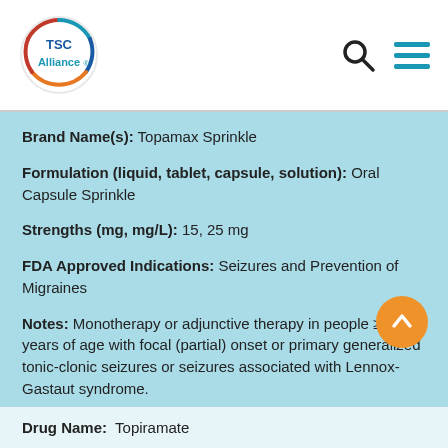[Figure (logo): TSC Alliance logo — circular logo with red, teal, and blue arcs, text 'TSC Alliance']
Brand Name(s):  Topamax Sprinkle
Formulation (liquid, tablet, capsule, solution):  Oral Capsule Sprinkle
Strengths (mg, mg/L):  15, 25 mg
FDA Approved Indications:  Seizures and Prevention of Migraines
Notes:  Monotherapy or adjunctive therapy in people ≥2 years of age with focal (partial) onset or primary generalized tonic-clonic seizures or seizures associated with Lennox-Gastaut syndrome.
Drug Name:  Topiramate